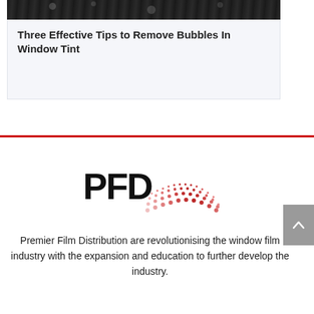[Figure (photo): Partial view of a dark-tinted car window with water bubbles, cropped at the top]
Three Effective Tips to Remove Bubbles In Window Tint
[Figure (logo): PFD (Premier Film Distribution) logo with bold black letters PFD and a red dot-matrix arc graphic]
Premier Film Distribution are revolutionising the window film industry with the expansion and education to further develop the industry.